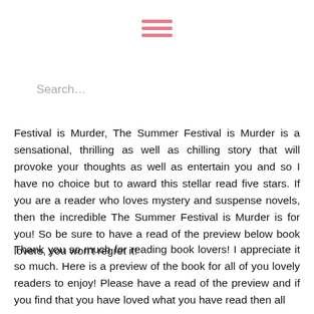[Figure (other): Hamburger menu icon with three horizontal pink/salmon colored bars]
Search…
Festival is Murder, The Summer Festival is Murder is a sensational, thrilling as well as chilling story that will provoke your thoughts as well as entertain you and so I have no choice but to award this stellar read five stars. If you are a reader who loves mystery and suspense novels, then the incredible The Summer Festival is Murder is for you! So be sure to have a read of the preview below book lovers, you won't regret it!
Thank you so much for reading book lovers! I appreciate it so much. Here is a preview of the book for all of you lovely readers to enjoy! Please have a read of the preview and if you find that you have loved what you have read then all